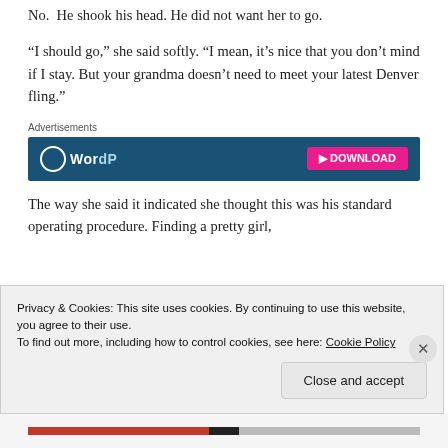No.  He shook his head. He did not want her to go.
“I should go,” she said softly. “I mean, it’s nice that you don’t mind if I stay. But your grandma doesn’t need to meet your latest Denver fling.”
Advertisements
[Figure (other): WordPress advertisement banner with blue background, circular logo on the left and pink button on the right]
The way she said it indicated she thought this was his standard operating procedure. Finding a pretty girl,
Privacy & Cookies: This site uses cookies. By continuing to use this website, you agree to their use.
To find out more, including how to control cookies, see here: Cookie Policy
Close and accept